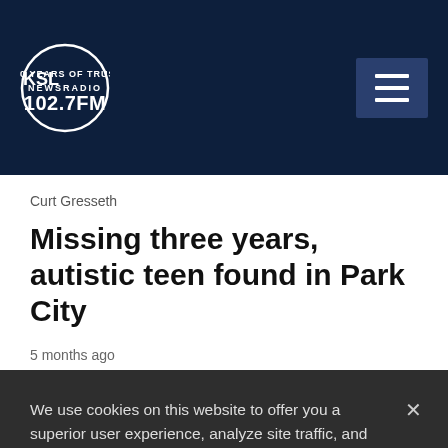KSL NewsRadio 102.7FM
Curt Gresseth
Missing three years, autistic teen found in Park City
5 months ago
We use cookies on this website to offer you a superior user experience, analyze site traffic, and personalize content and advertisements. By continuing to use our site, you consent to our use of cookies. Please visit our Privacy Policy for more information.
Accept Cookies